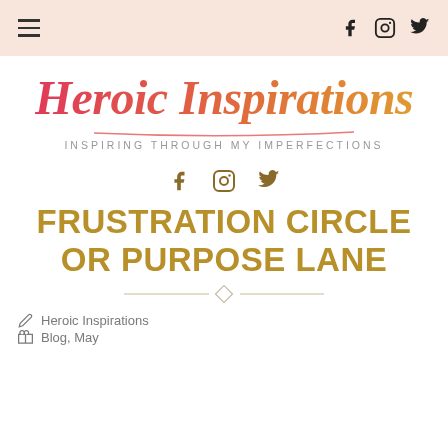Navigation bar with hamburger menu and social icons
[Figure (logo): Heroic Inspirations cursive script logo in pink-to-orange gradient with subtitle 'Inspiring Through My Imperfections']
[Figure (infographic): Social media icons: Facebook, Instagram, Twitter in gold/brown color]
FRUSTRATION CIRCLE OR PURPOSE LANE
Heroic Inspirations
Blog, May